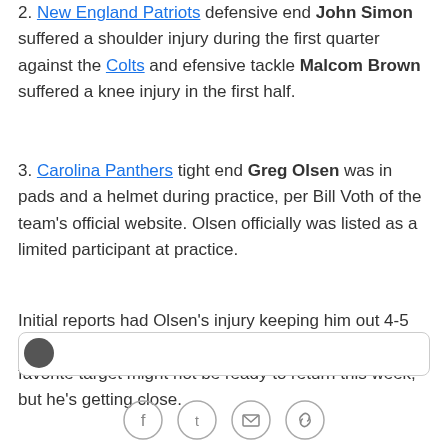2. New England Patriots defensive end John Simon suffered a shoulder injury during the first quarter against the Colts and efensive tackle Malcom Brown suffered a knee injury in the first half.
3. Carolina Panthers tight end Greg Olsen was in pads and a helmet during practice, per Bill Voth of the team's official website. Olsen officially was listed as a limited participant at practice.
Initial reports had Olsen's injury keeping him out 4-5 weeks. Sunday marks week four. Cam Newton's favorite target might not be ready to return this week, but he's getting close.